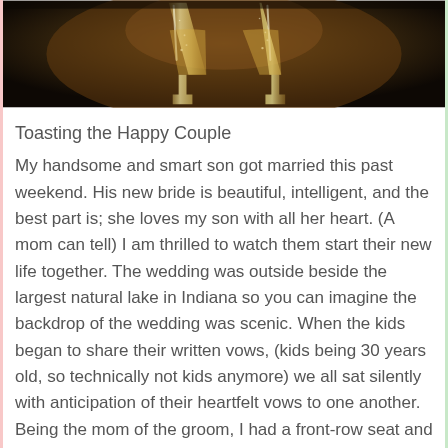[Figure (photo): Two champagne flute glasses clinking together against a dark warm background]
Toasting the Happy Couple
My handsome and smart son got married this past weekend. His new bride is beautiful, intelligent, and the best part is; she loves my son with all her heart. (A mom can tell) I am thrilled to watch them start their new life together. The wedding was outside beside the largest natural lake in Indiana so you can imagine the backdrop of the wedding was scenic. When the kids began to share their written vows, (kids being 30 years old, so technically not kids anymore) we all sat silently with anticipation of their heartfelt vows to one another. Being the mom of the groom, I had a front-row seat and got my phone out to record this moment in time. My son started his vows, well thought out and meticulously written